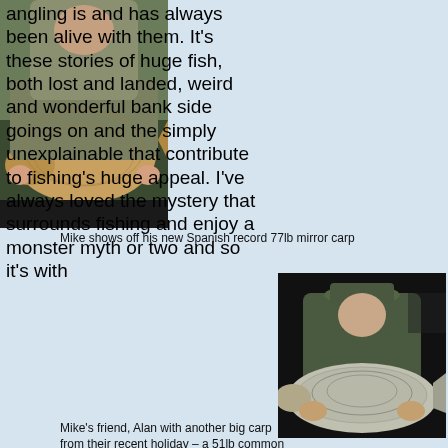angling is and has always been alive with them. It's these stories of huge fish, both lost and landed, weird and wonderful bank side goings on and the simply unexplainable that contribute to fishing's huge appeal. I've always loved the mystery that surrounds fishing and enjoy a monster myth or two and so it's with
[Figure (photo): Man holding a very large mirror carp fish at the bank side]
Mike shows off his new Spanish record 77lb mirror carp
[Figure (photo): Man wearing a hat holding a large common carp fish at night]
Mike's friend, Alan with another big carp from their recent holiday – a 51lb common